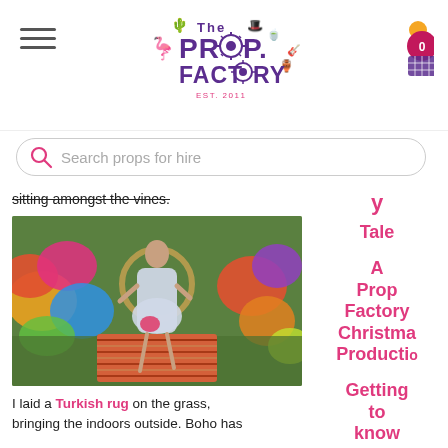The Prop Factory EST. 2011 - Navigation header with logo, hamburger menu, and cart
Search props for hire
sitting amongst the vines.
[Figure (photo): Woman in white lace dress sitting on a Turkish/Boho rug on grass, surrounded by large colorful oversized flower props in an outdoor garden setting.]
I laid a Turkish rug on the grass, bringing the indoors outside. Boho has
Tale
A Prop Factory Christmas Production
Getting to know David,